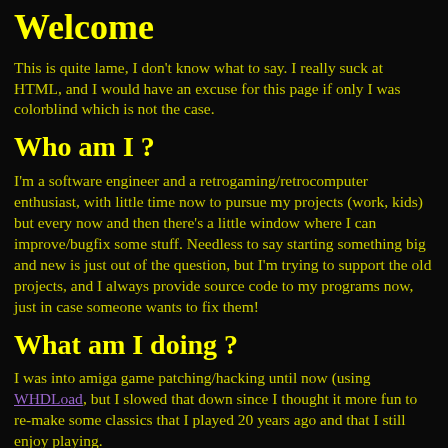Welcome
This is quite lame, I don't know what to say. I really suck at HTML, and I would have an excuse for this page if only I was colorblind which is not the case.
Who am I ?
I'm a software engineer and a retrogaming/retrocomputer enthusiast, with little time now to pursue my projects (work, kids) but every now and then there's a little window where I can improve/bugfix some stuff. Needless to say starting something big and new is just out of the question, but I'm trying to support the old projects, and I always provide source code to my programs now, just in case someone wants to fix them!
What am I doing ?
I was into amiga game patching/hacking until now (using WHDLoad, but I slowed that down since I thought it more fun to re-make some classics that I played 20 years ago and that I still enjoy playing.